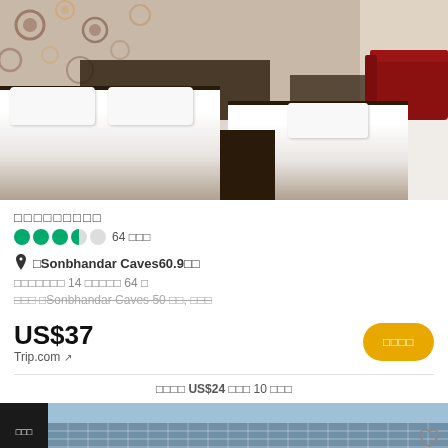[Figure (photo): Hotel room with two beds with white linen, dark wood bed frames, decorative wallpaper with circles, and a red sofa in the background]
□□□□□□□□□
●●●●○ 64 □□□
📍 □Sonbhandar Caves 60.9□□
□□□□□□□ 14 □□□□□ 64 □
□□□ □Sonbhandar Caves 50 □□, □□□
US$37
Trip.com ↗
□□□□
□□□□ US$24 □□□ 10 □□□
[Figure (photo): Bottom strip showing a building with glass facade, partially visible]